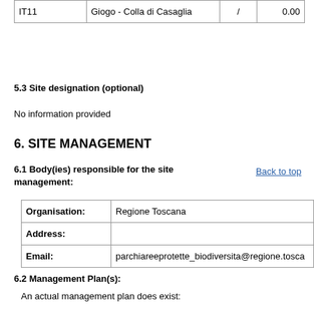|  |  | / | 0.00 |
| --- | --- | --- | --- |
| IT11 | Giogo - Colla di Casaglia | / | 0.00 |
5.3 Site designation (optional)
No information provided
6. SITE MANAGEMENT
Back to top
6.1 Body(ies) responsible for the site management:
| Organisation: | Regione Toscana |
| Address: |  |
| Email: | parchiareeprotette_biodiversita@regione.tosca |
6.2 Management Plan(s):
An actual management plan does exist: